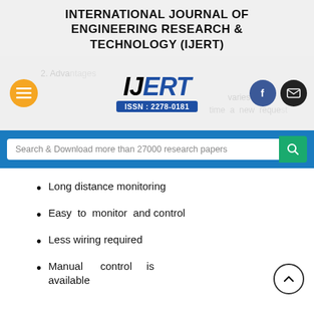INTERNATIONAL JOURNAL OF ENGINEERING RESEARCH & TECHNOLOGY (IJERT)
[Figure (screenshot): IJERT website header with logo (ISSN: 2278-0181), hamburger menu button, Facebook and email social buttons, faded background text '2. Adva... varies every time a new request']
[Figure (screenshot): Search bar with text 'Search & Download more than 27000 research papers' and green search icon button]
Long distance monitoring
Easy to monitor and control
Less wiring required
Manual control is available